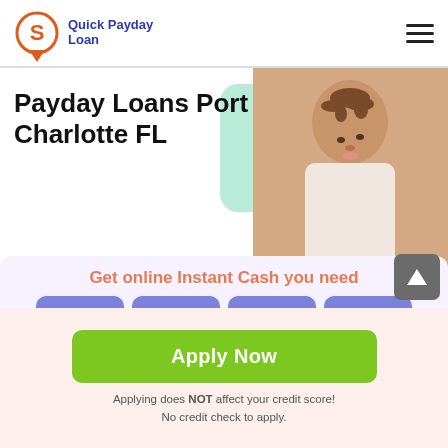Quick Payday Loan
Payday Loans Port Charlotte FL
Get online Instant Cash you need
$100
$200
$300
$400
$500
$1000
OR
Apply Now
Applying does NOT affect your credit score! No credit check to apply.